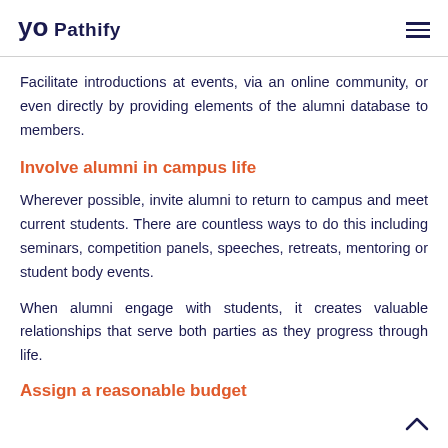Pathify
Facilitate introductions at events, via an online community, or even directly by providing elements of the alumni database to members.
Involve alumni in campus life
Wherever possible, invite alumni to return to campus and meet current students. There are countless ways to do this including seminars, competition panels, speeches, retreats, mentoring or student body events.
When alumni engage with students, it creates valuable relationships that serve both parties as they progress through life.
Assign a reasonable budget